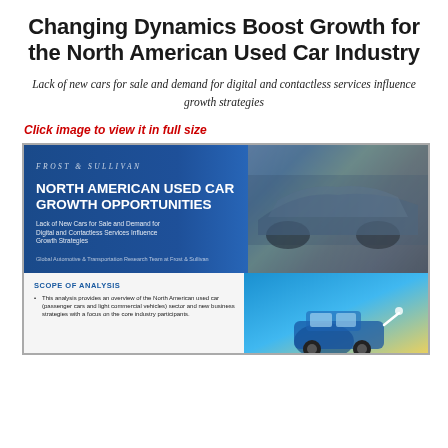Changing Dynamics Boost Growth for the North American Used Car Industry
Lack of new cars for sale and demand for digital and contactless services influence growth strategies
Click image to view it in full size
[Figure (other): Frost & Sullivan report cover: North American Used Car Growth Opportunities. Blue banner with cars in background. Text: NORTH AMERICAN USED CAR GROWTH OPPORTUNITIES. Subtext: Lack of New Cars for Sale and Demand for Digital and Contactless Services Influence Growth Strategies. Author: Global Automotive & Transportation Research Team at Frost & Sullivan.]
[Figure (other): Bottom portion of Frost & Sullivan report showing Scope of Analysis section with bullet points about North American used car (passenger cars and light commercial vehicles) sector and new business strategies with focus on core industry participants. Right side shows partial illustration of a blue car charging.]